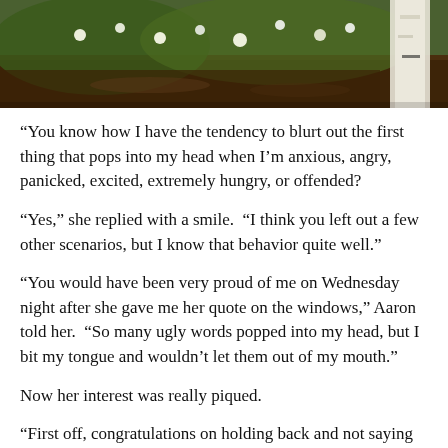[Figure (photo): Bottom portion of a photo showing a garden or outdoor scene with green foliage, white flowers, and dark soil or mulch at the bottom, with what appears to be a white birch tree trunk on the right side.]
“You know how I have the tendency to blurt out the first thing that pops into my head when I’m anxious, angry, panicked, excited, extremely hungry, or offended?
“Yes,” she replied with a smile.  “I think you left out a few other scenarios, but I know that behavior quite well.”
“You would have been very proud of me on Wednesday night after she gave me her quote on the windows,” Aaron told her.  “So many ugly words popped into my head, but I bit my tongue and wouldn’t let them out of my mouth.”
Now her interest was really piqued.
“First off, congratulations on holding back and not saying